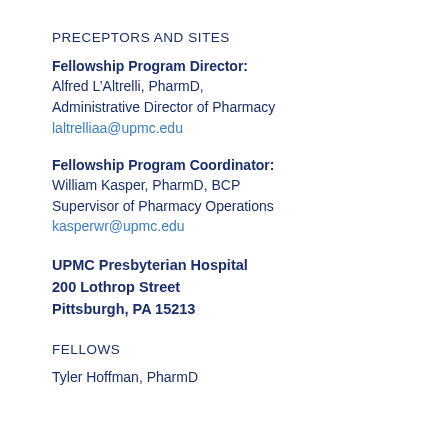PRECEPTORS AND SITES
Fellowship Program Director:
Alfred L’Altrelli, PharmD,
Administrative Director of Pharmacy
laltrelliaa@upmc.edu
Fellowship Program Coordinator:
William Kasper, PharmD, BCP
Supervisor of Pharmacy Operations
kasperwr@upmc.edu
UPMC Presbyterian Hospital
200 Lothrop Street
Pittsburgh, PA 15213
FELLOWS
Tyler Hoffman, PharmD